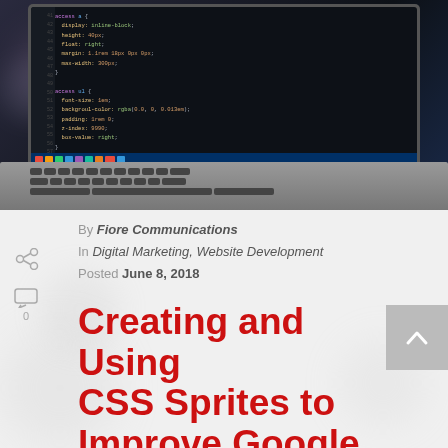[Figure (photo): Laptop with code editor showing CSS/HTML code on dark background, keyboard visible in foreground]
By Fiore Communications
In Digital Marketing, Website Development
Posted June 8, 2018
Creating and Using CSS Sprites to Improve Google